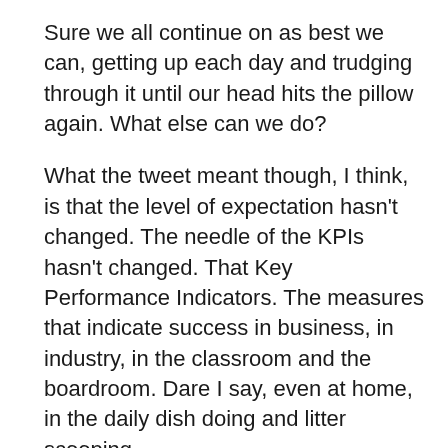Sure we all continue on as best we can, getting up each day and trudging through it until our head hits the pillow again. What else can we do?
What the tweet meant though, I think, is that the level of expectation hasn't changed. The needle of the KPIs hasn't changed. That Key Performance Indicators. The measures that indicate success in business, in industry, in the classroom and the boardroom. Dare I say, even at home, in the daily dish doing and litter scooping.
When was the last time your boss said, “it’s been rough out there. Take a week off on us?”
The answer is never.